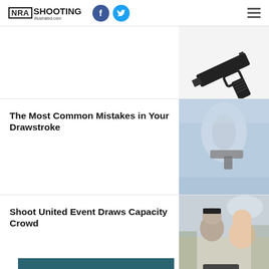NRA Shooting Illustrated .com
[Figure (photo): Black handgun photographed against white background, angled view showing slide and grip]
The Most Common Mistakes in Your Drawstroke
[Figure (photo): Person drawing a handgun from holster, close-up of hands and firearm with blurred background]
Shoot United Event Draws Capacity Crowd
[Figure (photo): Two people at outdoor shooting event, woman smiling holding firearm with instructor assisting]